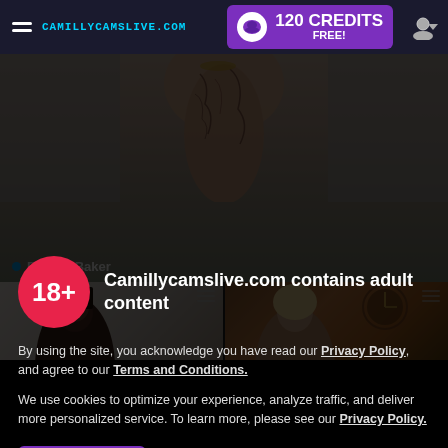CAMILLYCAMSLIVE.COM | 120 CREDITS FREE!
[Figure (screenshot): Website screenshot of camillycamslive.com showing a header with hamburger menu, site name, purple credits banner saying 120 CREDITS FREE!, and user icon. Below is a camera stream showing a tattooed arm/body with name tag 'Bonnie Baker' and two thumbnail previews of other streamers.]
Camillycamslive.com contains adult content
By using the site, you acknowledge you have read our Privacy Policy, and agree to our Terms and Conditions.
We use cookies to optimize your experience, analyze traffic, and deliver more personalized service. To learn more, please see our Privacy Policy.
I AGREE